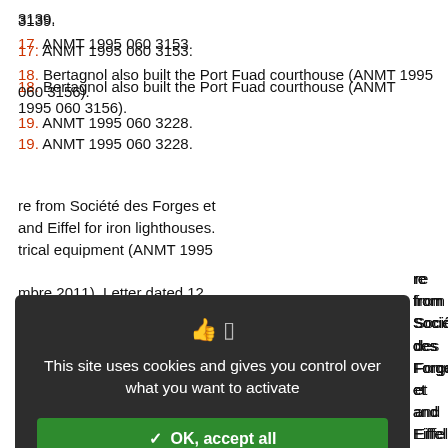3139.
17. ANMT 1995 060 3153.
18. Bertagnol also built the Port Fuad courthouse (ANMT 1995 060 3156).
19. ANMT 1995 060 3228.
[partial] ...re from Société des Forges et ...and Eiffel for iron lighthouses. ...trical equipment (ANMT 1995
[partial] ...mbre 2011). Letter dated 12 ...oignet.
[partial] ...o, French architect and ...rom 1846 to 1878.
[partial] ...3576.
[partial] ...and shipped Company
[Figure (screenshot): Cookie consent modal dialog with dark background. Contains icons, text 'This site uses cookies and gives you control over what you want to activate', green 'OK, accept all' button, red 'Deny all cookies' button, white 'Personalize' button, and 'Privacy policy' link.]